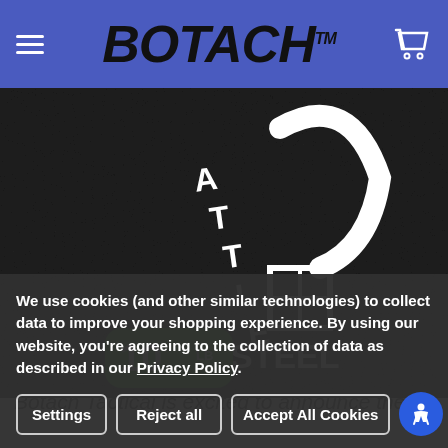BOTACH
[Figure (photo): Close-up photo of a black textured surface (Battle Steel brand) with white logo text reading 'BATTLE STEEL' and a green rounded badge showing '10 lb']
Botach Tactical is excited to announce the
We use cookies (and other similar technologies) to collect data to improve your shopping experience. By using our website, you're agreeing to the collection of data as described in our Privacy Policy.
Settings | Reject all | Accept All Cookies